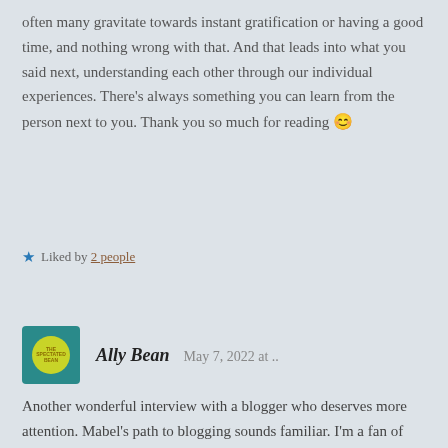often many gravitate towards instant gratification or having a good time, and nothing wrong with that. And that leads into what you said next, understanding each other through our individual experiences. There's always something you can learn from the person next to you. Thank you so much for reading 😊
★ Liked by 2 people
Ally Bean  May 7, 2022 at ..
Another wonderful interview with a blogger who deserves more attention. Mabel's path to blogging sounds familiar. I'm a fan of Quiet by Susan Cain, too– probably no surprise. I admire anyone who can write a book in addition to